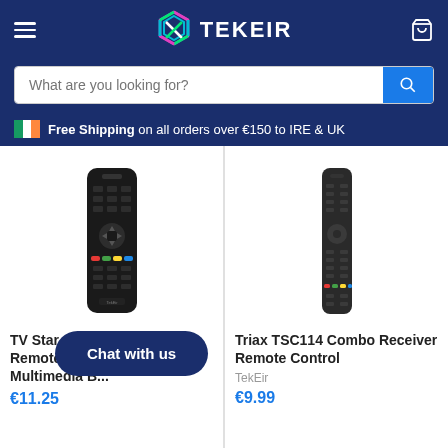[Figure (logo): TEKEIR logo with geometric hexagon shape in pink, cyan, and green, with white text TEKEIR]
What are you looking for?
Free Shipping on all orders over €150 to IRE & UK
[Figure (photo): TV Star 1020 replacement remote control, black]
TV Star 1020 Replacement Remote Control With Multimedia B...
€11.25
[Figure (photo): Triax TSC114 Combo Receiver Remote Control, black slim design]
Triax TSC114 Combo Receiver Remote Control
TekEir
€9.99
Chat with us